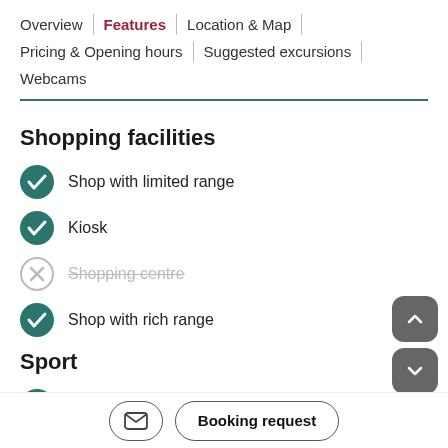Overview | Features | Location & Map | Pricing & Opening hours | Suggested excursions | Webcams
Shopping facilities
Shop with limited range
Kiosk
Shopping centre (unavailable)
Shop with rich range
Sport
Sports field